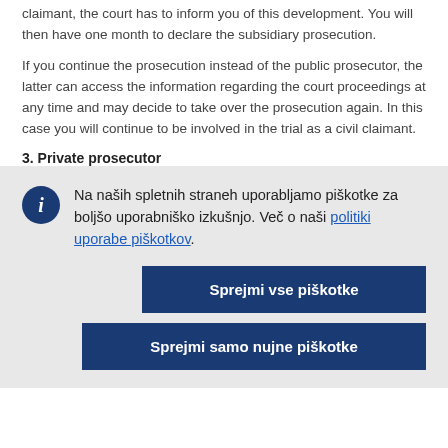claimant, the court has to inform you of this development. You will then have one month to declare the subsidiary prosecution.
If you continue the prosecution instead of the public prosecutor, the latter can access the information regarding the court proceedings at any time and may decide to take over the prosecution again. In this case you will continue to be involved in the trial as a civil claimant.
3. Private prosecutor
Na naših spletnih straneh uporabljamo piškotke za boljšo uporabniško izkušnjo. Več o naši politiki uporabe piškotkov.
Sprejmi vse piškotke
Sprejmi samo nujne piškotke